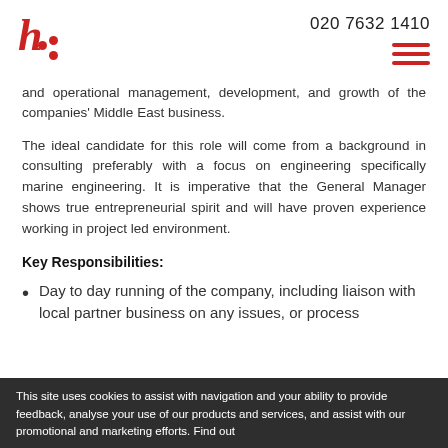020 7632 1410
and operational management, development, and growth of the companies' Middle East business.
The ideal candidate for this role will come from a background in consulting preferably with a focus on engineering specifically marine engineering. It is imperative that the General Manager shows true entrepreneurial spirit and will have proven experience working in project led environment.
Key Responsibilities:
Day to day running of the company, including liaison with local partner business on any issues, or process
This site uses cookies to assist with navigation and your ability to provide feedback, analyse your use of our products and services, and assist with our promotional and marketing efforts. Find out